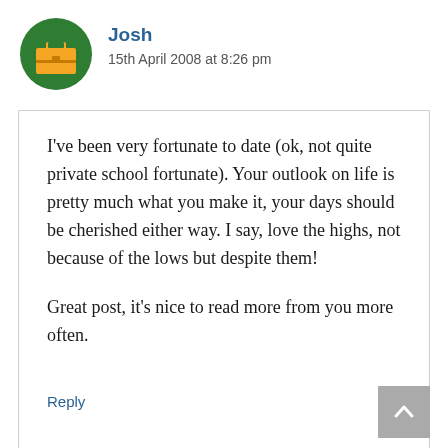[Figure (illustration): Green circular avatar icon with a pixel-art briefcase/bag graphic in yellow/orange on a green background]
Josh
15th April 2008 at 8:26 pm
I’ve been very fortunate to date (ok, not quite private school fortunate). Your outlook on life is pretty much what you make it, your days should be cherished either way. I say, love the highs, not because of the lows but despite them!

Great post, it’s nice to read more from you more often.
Reply